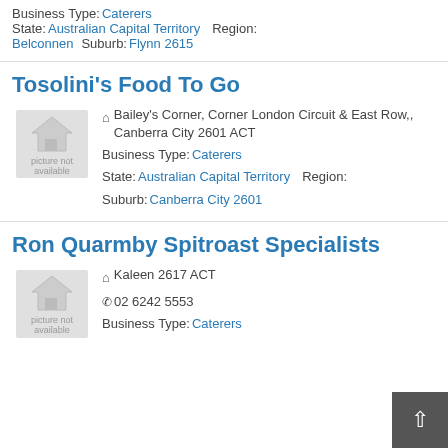Business Type: Caterers | State: Australian Capital Territory | Region: Belconnen | Suburb: Flynn 2615
Tosolini's Food To Go
[Figure (other): Picture not available placeholder image with house icon]
Bailey's Corner, Corner London Circuit & East Row,, Canberra City 2601 ACT | Business Type: Caterers | State: Australian Capital Territory | Region: | Suburb: Canberra City 2601
Ron Quarmby Spitroast Specialists
[Figure (other): Picture not available placeholder image with house icon]
Kaleen 2617 ACT | 02 6242 5553 | Business Type: Caterers